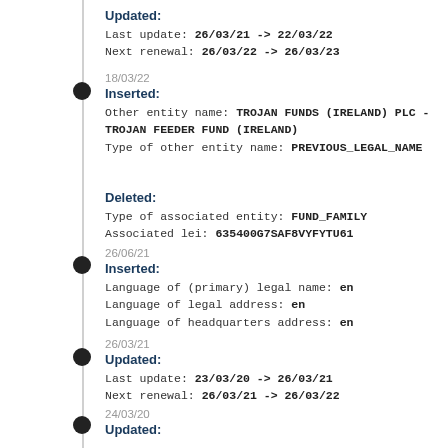Updated: Last update: 26/03/21 -> 22/03/22 Next renewal: 26/03/22 -> 26/03/23
18/03/22 Inserted: Other entity name: TROJAN FUNDS (IRELAND) PLC - TROJAN FEEDER FUND (IRELAND) Type of other entity name: PREVIOUS_LEGAL_NAME
Deleted: Type of associated entity: FUND_FAMILY Associated lei: 635400G7SAF8VYFYTU61
26/06/21 Inserted: Language of (primary) legal name: en Language of legal address: en Language of headquarters address: en
26/03/21 Updated: Last update: 23/03/20 -> 26/03/21 Next renewal: 26/03/21 -> 26/03/22
24/03/20 Updated: